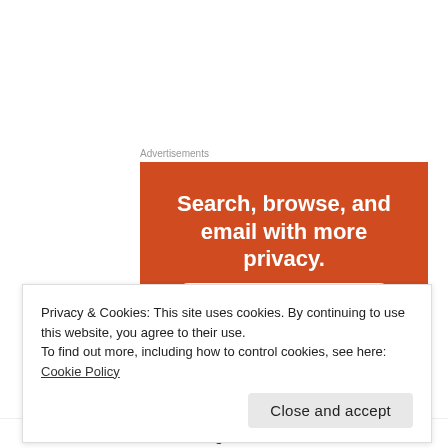Advertisements
[Figure (illustration): DuckDuckGo advertisement banner on orange background showing 'Search, browse, and email with more privacy. All in One Free App' with a phone showing the DuckDuckGo logo.]
Privacy & Cookies: This site uses cookies. By continuing to use this website, you agree to their use.
To find out more, including how to control cookies, see here: Cookie Policy
Close and accept
Mohsin thanks for letting me know, however what